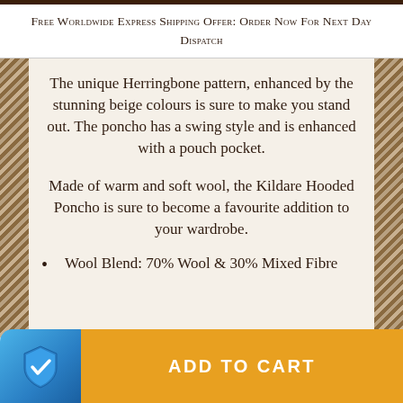Free Worldwide Express Shipping Offer: Order Now For Next Day Dispatch
The unique Herringbone pattern, enhanced by the stunning beige colours is sure to make you stand out. The poncho has a swing style and is enhanced with a pouch pocket.
Made of warm and soft wool, the Kildare Hooded Poncho is sure to become a favourite addition to your wardrobe.
Wool Blend: 70% Wool & 30% Mixed Fibre
Choose options ∨